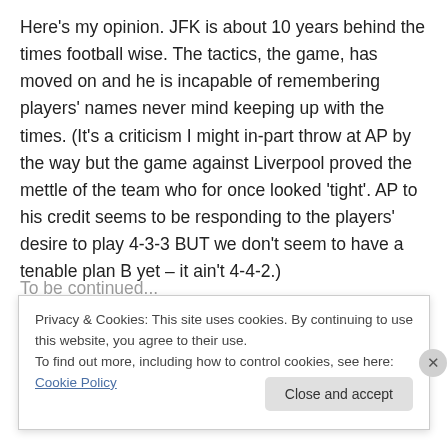Here's my opinion. JFK is about 10 years behind the times football wise. The tactics, the game, has moved on and he is incapable of remembering players' names never mind keeping up with the times. (It's a criticism I might in-part throw at AP by the way but the game against Liverpool proved the mettle of the team who for once looked 'tight'. AP to his credit seems to be responding to the players' desire to play 4-3-3 BUT we don't seem to have a tenable plan B yet – it ain't 4-4-2.)
Privacy & Cookies: This site uses cookies. By continuing to use this website, you agree to their use.
To find out more, including how to control cookies, see here: Cookie Policy